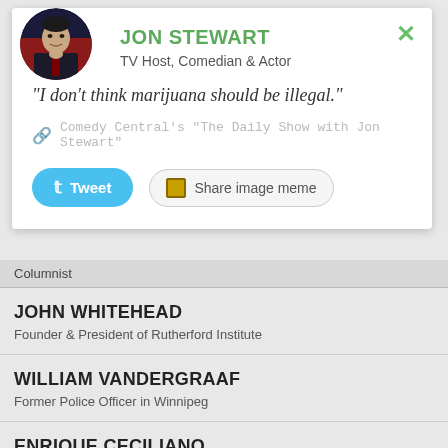[Figure (photo): Circular avatar photo of Jon Stewart]
JON STEWART
TV Host, Comedian & Actor
“I don’t think marijuana should be illegal.”
Comedy Central’s “The Daily Show with Jon Stewart”
Tweet
Share image meme
Columnist
JOHN WHITEHEAD
Founder & President of Rutherford Institute
WILLIAM VANDERGRAAF
Former Police Officer in Winnipeg
ENRIQUE CECILIANO
Former Section Chief of Costa Rica's Judicial...
RUBENS CASARA